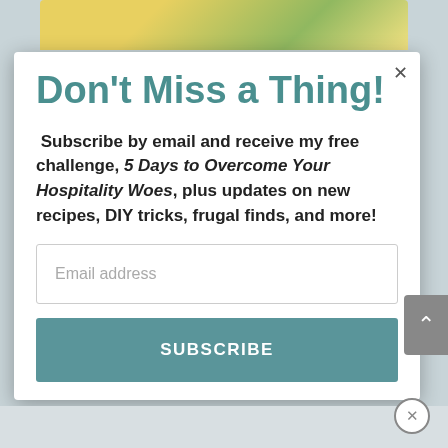[Figure (photo): Food photo at top, showing eggs or similar dish with green garnish]
Don't Miss a Thing!
Subscribe by email and receive my free challenge, 5 Days to Overcome Your Hospitality Woes, plus updates on new recipes, DIY tricks, frugal finds, and more!